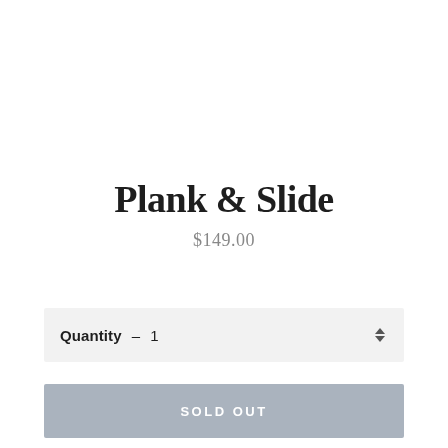Plank & Slide
$149.00
Quantity – 1
SOLD OUT